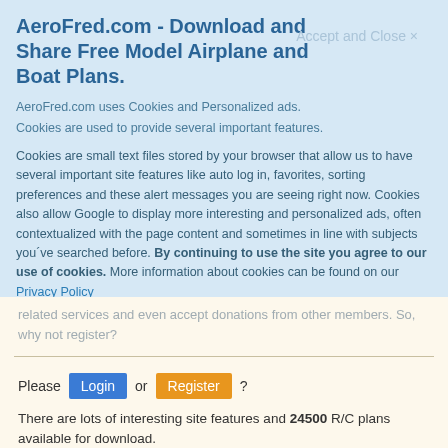AeroFred.com - Download and Share Free Model Airplane and Boat Plans.
Accept and Close ×
AeroFred.com uses Cookies and Personalized ads.
Cookies are used to provide several important features.
Cookies are small text files stored by your browser that allow us to have several important site features like auto log in, favorites, sorting preferences and these alert messages you are seeing right now. Cookies also allow Google to display more interesting and personalized ads, often contextualized with the page content and sometimes in line with subjects you´ve searched before. By continuing to use the site you agree to our use of cookies. More information about cookies can be found on our Privacy Policy
related services and even accept donations from other members. So, why not register?
Please Login or Register ? There are lots of interesting site features and 24500 R/C plans available for download.